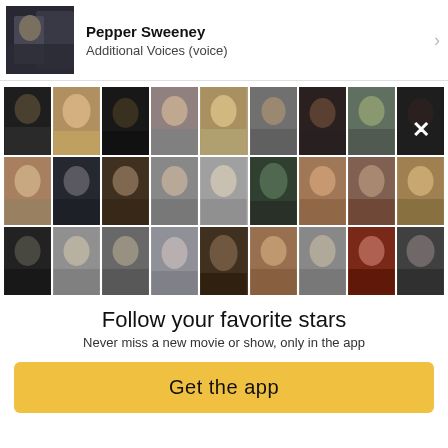Pepper Sweeney
Additional Voices (voice)
[Figure (photo): Grid of 27 celebrity portrait photos arranged in 3 rows of 9]
Follow your favorite stars
Never miss a new movie or show, only in the app
Get the app